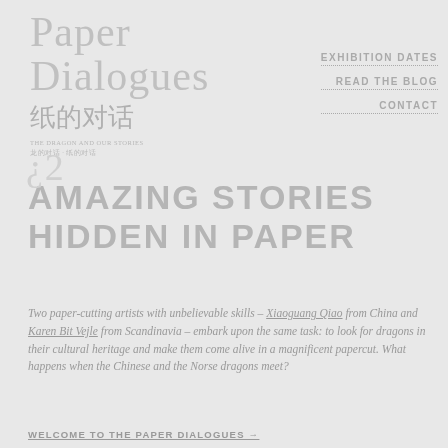Paper Dialogues
纸的对话
THE DRAGON AND OUR STORIES
龙的对话 · 纸的对话
EXHIBITION DATES
READ THE BLOG
CONTACT
AMAZING STORIES HIDDEN IN PAPER
Two paper-cutting artists with unbelievable skills – Xiaoguang Qiao from China and Karen Bit Vejle from Scandinavia – embark upon the same task: to look for dragons in their cultural heritage and make them come alive in a magnificent papercut. What happens when the Chinese and the Norse dragons meet?
WELCOME TO THE PAPER DIALOGUES →